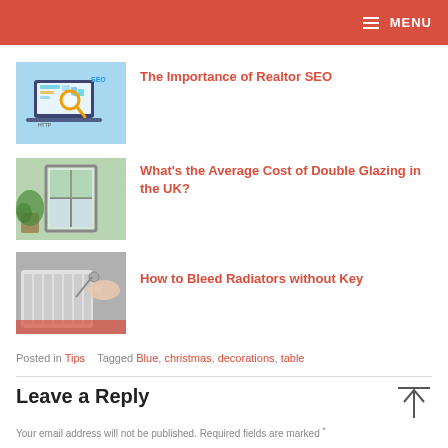MENU
[Figure (screenshot): Thumbnail image of laptop with SEO/analytics illustration]
The Importance of Realtor SEO
[Figure (photo): Thumbnail photo of a double glazed window]
What's the Average Cost of Double Glazing in the UK?
[Figure (photo): Thumbnail photo of a hand bleeding a radiator]
How to Bleed Radiators without Key
Posted in Tips   Tagged Blue, christmas, decorations, table
Leave a Reply
Your email address will not be published. Required fields are marked *